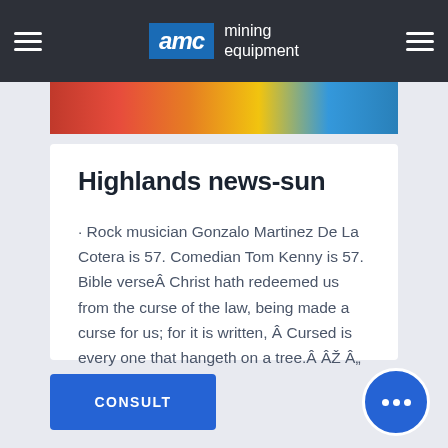AMC mining equipment
[Figure (photo): Colorful hero image strip showing mining equipment or industrial scene]
Highlands news-sun
· Rock musician Gonzalo Martinez De La Cotera is 57. Comedian Tom Kenny is 57. Bible verseÂ Christ hath redeemed us from the curse of the law, being made a curse for us; for it is written, Â Cursed is every one that hangeth on a tree.Â ÂŽ Â„ Galatians 3:13.